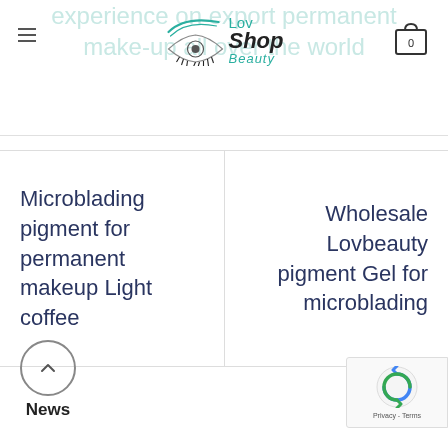experience on export permanent makeup all over the world
[Figure (logo): LovShop Beauty logo with eyelash illustration]
Microblading pigment for permanent makeup Light coffee
Wholesale Lovbeauty pigment Gel for microblading
[Figure (other): Back to top arrow button with News label below]
[Figure (other): reCAPTCHA badge with Privacy - Terms text]